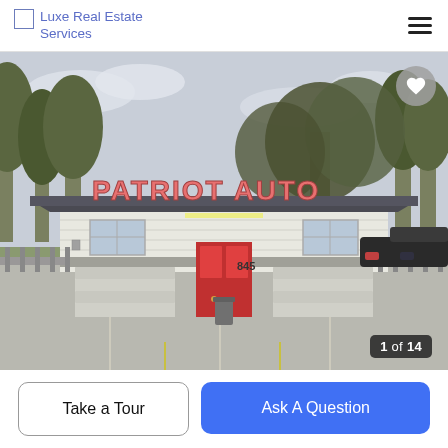Luxe Real Estate Services
[Figure (photo): Exterior photo of Patriot Auto building at 845, a small white commercial building with a red door, dark roof, and large pink/red 'PATRIOT AUTO' signage on the facade. Surrounded by pine trees and a concrete parking lot. Image counter shows 1 of 14.]
Take a Tour
Ask A Question